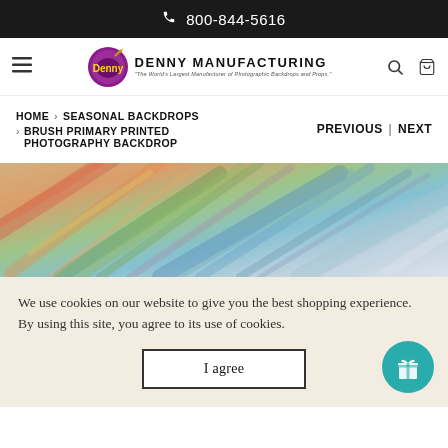800-844-5616
[Figure (logo): Denny Manufacturing logo with oval paint palette and text 'DENNY MANUFACTURING - The World's Largest Manufacturer of Photographic Backdrops and Props.']
HOME > SEASONAL BACKDROPS > BRUSH PRIMARY PRINTED PHOTOGRAPHY BACKDROP
PREVIOUS | NEXT
[Figure (photo): Close-up of a colorful brush-stroke printed photography backdrop with diagonal streaks of orange, red, green, blue, and white paint.]
We use cookies on our website to give you the best shopping experience. By using this site, you agree to its use of cookies.
I agree